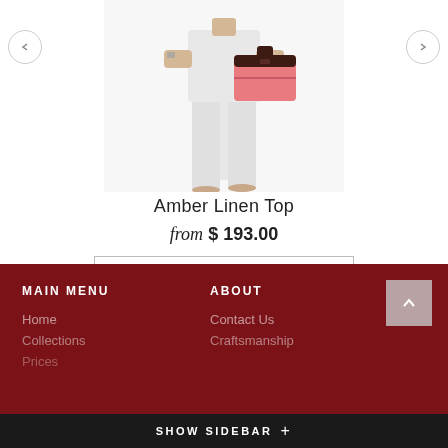[Figure (photo): Person in white pants and white top, standing barefoot, holding a pink and dark red handbag/case. Navigation arrows visible on left and right sides.]
Amber Linen Top
from $ 193.00
UNAVAILABLE
MAIN MENU | Home | Collections | ABOUT | Contact Us | Craftsmanship
SHOW SIDEBAR +